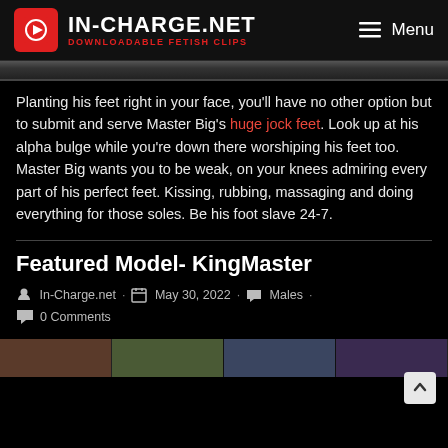IN-CHARGE.NET — DOWNLOADABLE FETISH CLIPS | Menu
Planting his feet right in your face, you'll have no other option but to submit and serve Master Big's huge jock feet. Look up at his alpha bulge while you're down there worshiping his feet too. Master Big wants you to be weak, on your knees admiring every part of his perfect feet. Kissing, rubbing, massaging and doing everything for those soles. Be his foot slave 24-7.
Featured Model- KingMaster
In-Charge.net · May 30, 2022 · Males · 0 Comments
[Figure (photo): Thumbnail strip of content images at bottom of page]